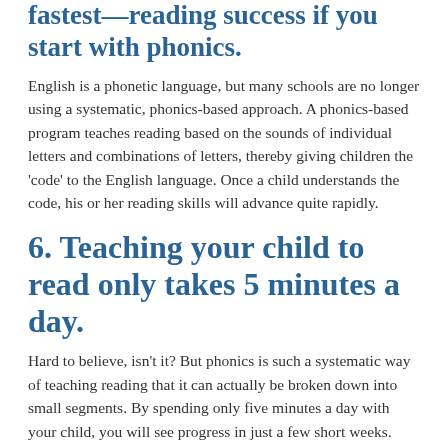fastest—reading success if you start with phonics.
English is a phonetic language, but many schools are no longer using a systematic, phonics-based approach. A phonics-based program teaches reading based on the sounds of individual letters and combinations of letters, thereby giving children the 'code' to the English language. Once a child understands the code, his or her reading skills will advance quite rapidly.
6. Teaching your child to read only takes 5 minutes a day.
Hard to believe, isn't it? But phonics is such a systematic way of teaching reading that it can actually be broken down into small segments. By spending only five minutes a day with your child, you will see progress in just a few short weeks. Plus, you will